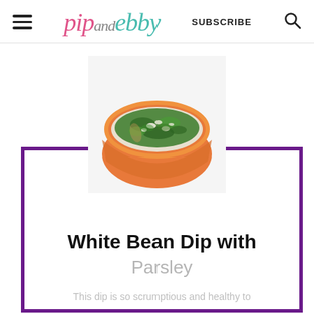pip and ebby — SUBSCRIBE
[Figure (photo): An orange ceramic bowl filled with white bean dip topped with chopped green parsley, viewed from above at a slight angle.]
White Bean Dip with Parsley
This dip is so scrumptious and healthy to